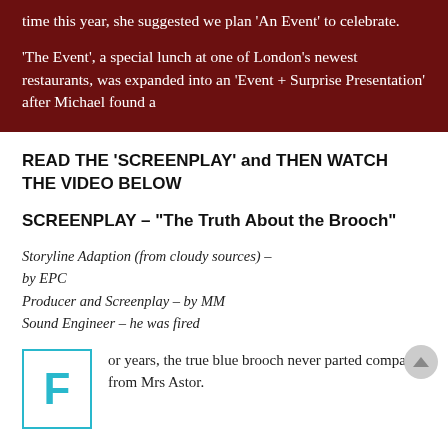time this year, she suggested we plan 'An Event' to celebrate.
'The Event', a special lunch at one of London's newest restaurants, was expanded into an 'Event + Surprise Presentation' after Michael found a
READ THE 'SCREENPLAY' and THEN WATCH THE VIDEO BELOW
SCREENPLAY – “The Truth About the Brooch”
Storyline Adaption (from cloudy sources) – by EPC
Producer and Screenplay – by MM
Sound Engineer – he was fired
or years, the true blue brooch never parted company from Mrs Astor.